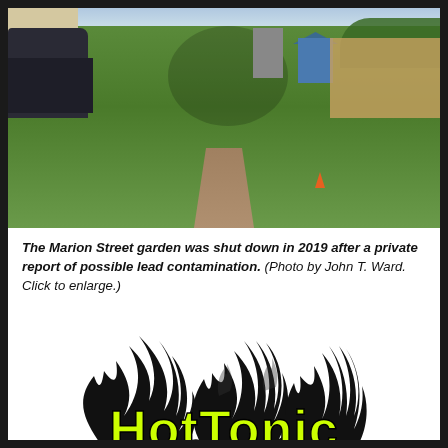[Figure (photo): Outdoor photo of the Marion Street garden — a grassy lot with a dirt path through the middle, a car on the left, a house on the left edge, a blue shed and structure in the background center, a wooden fence on the right, and trees/shrubs in the upper right. Sky visible at top.]
The Marion Street garden was shut down in 2019 after a private report of possible lead contamination. (Photo by John T. Ward. Click to enlarge.)
[Figure (logo): HotTopic logo: yellow bold text reading 'HotTonic' with black flame silhouettes behind it on a white background.]